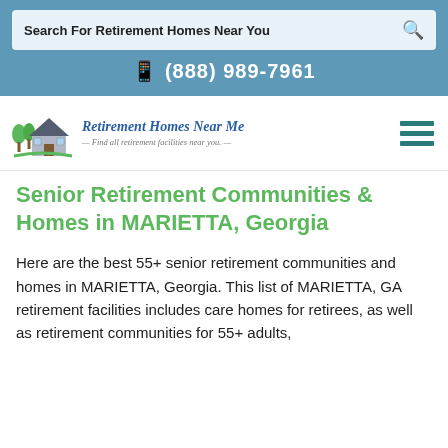Search For Retirement Homes Near You
(888) 989-7961
[Figure (logo): Retirement Homes Near Me logo with a house icon and trees, tagline: Find all retirement facilities near you.]
Senior Retirement Communities & Homes in MARIETTA, Georgia
Here are the best 55+ senior retirement communities and homes in MARIETTA, Georgia. This list of MARIETTA, GA retirement facilities includes care homes for retirees, as well as retirement communities for 55+ adults,